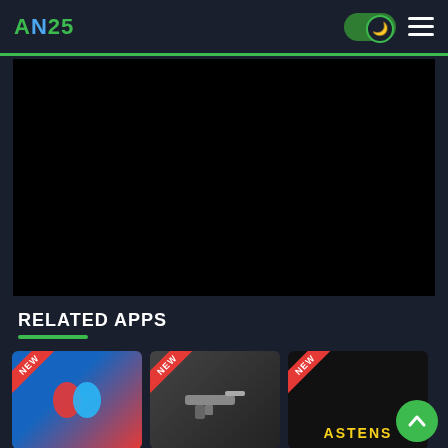AN25 header with logo, dark mode toggle, and hamburger menu
[Figure (screenshot): Black video player area]
RELATED APPS
[Figure (screenshot): Three app thumbnails with NEW ribbons: a blue/red app, a gun/dark app, and a black background app with yellow ASTENS text]
[Figure (other): Scroll-to-top green circular button with up arrow]